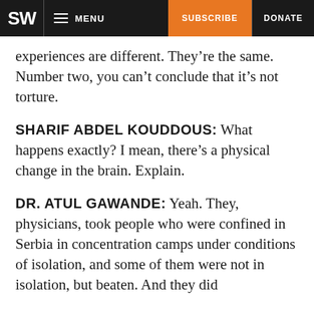SW  MENU  SUBSCRIBE  DONATE
experiences are different. They're the same. Number two, you can't conclude that it's not torture.
SHARIF ABDEL KOUDDOUS: What happens exactly? I mean, there's a physical change in the brain. Explain.
DR. ATUL GAWANDE: Yeah. They, physicians, took people who were confined in Serbia in concentration camps under conditions of isolation, and some of them were not in isolation, but beaten. And they did